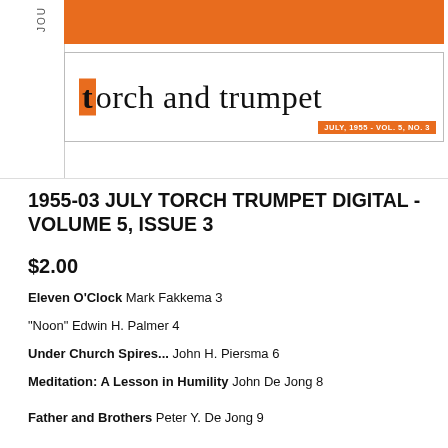[Figure (illustration): Cover of Torch and Trumpet magazine, July 1955, Vol. 5, No. 3. Orange bar at top, logo with orange 't' box followed by 'orch and trumpet' text, orange badge with date and volume info at bottom right.]
1955-03 JULY TORCH TRUMPET DIGITAL - VOLUME 5, ISSUE 3
$2.00
Eleven O'Clock  Mark Fakkema  3
"Noon"  Edwin H. Palmer  4
Under Church Spires...  John H. Piersma  6
Meditation: A Lesson in Humility  John De Jong  8
Father and Brothers  Peter Y. De Jong  9